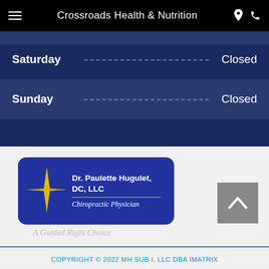Crossroads Health & Nutrition
Saturday ... Closed
Sunday ... Closed
[Figure (logo): Dr. Paulette Hugulet, DC, LLC — Chiropractic Physician logo with yellow 4-pointed star on blue rounded rectangle background]
A Guided Right Choice
COPYRIGHT © 2022 MH SUB I, LLC DBA IMATRIX